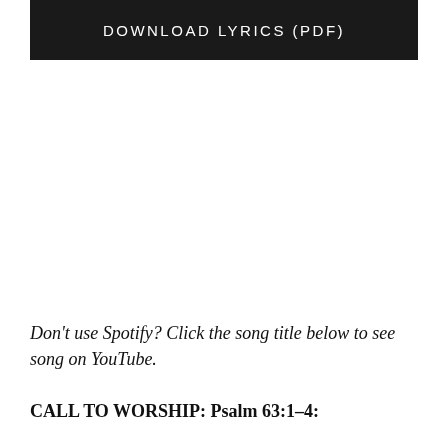[Figure (other): Dark banner button with white uppercase text reading DOWNLOAD LYRICS (PDF)]
Don't use Spotify? Click the song title below to see song on YouTube.
CALL TO WORSHIP: Psalm 63:1-4: